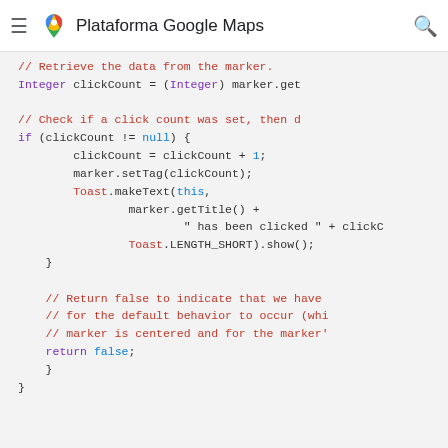Plataforma Google Maps
Code snippet showing Java/Android marker click handler with click count logic using Toast and return false.